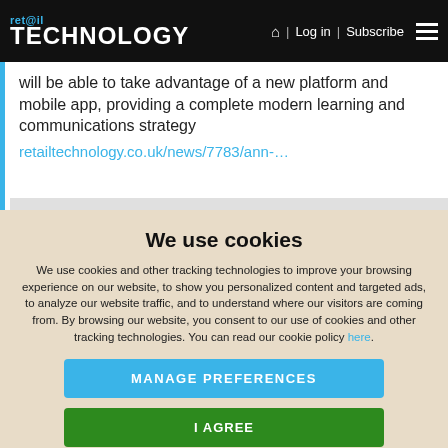ret@il TECHNOLOGY | Log in | Subscribe
will be able to take advantage of a new platform and mobile app, providing a complete modern learning and communications strategy retailtechnology.co.uk/news/7783/ann-…
We use cookies
We use cookies and other tracking technologies to improve your browsing experience on our website, to show you personalized content and targeted ads, to analyze our website traffic, and to understand where our visitors are coming from. By browsing our website, you consent to our use of cookies and other tracking technologies. You can read our cookie policy here.
MANAGE PREFERENCES
I AGREE